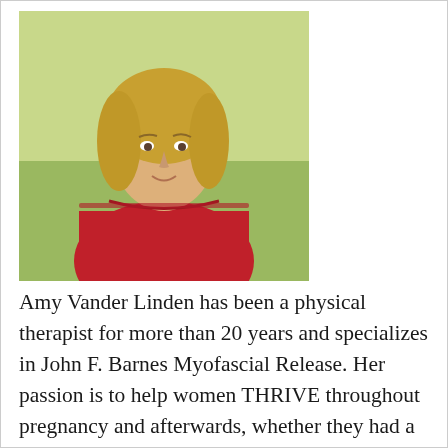[Figure (photo): Professional headshot photo of Amy Vander Linden, a woman with blonde hair wearing a red sleeveless top, photographed outdoors with a green/yellow background.]
Amy Vander Linden has been a physical therapist for more than 20 years and specializes in John F. Barnes Myofascial Release. Her passion is to help women THRIVE throughout pregnancy and afterwards, whether they had a baby 6 weeks ago or 16 years ago (postpartum is forever). She assists them towards wholeness by empowering them to know their bodies, understanding healing processes and offering therapeutic touch, gaining confidence in their ability to do